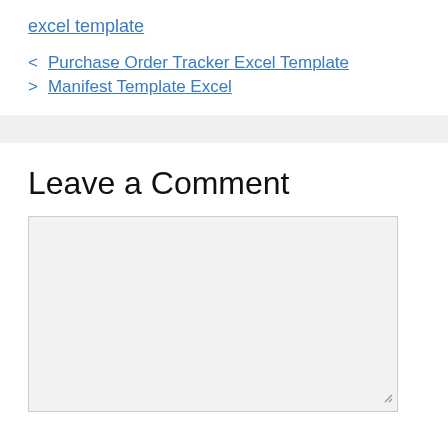excel template
< Purchase Order Tracker Excel Template
> Manifest Template Excel
Leave a Comment